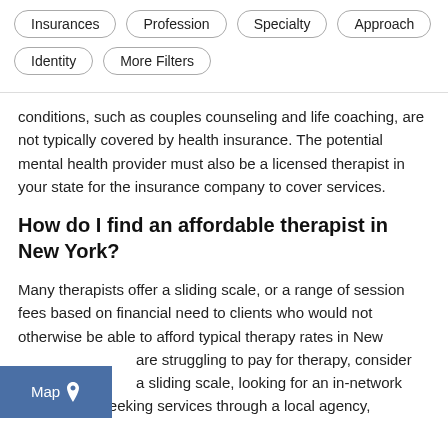Insurances
Profession
Specialty
Approach
Identity
More Filters
conditions, such as couples counseling and life coaching, are not typically covered by health insurance. The potential mental health provider must also be a licensed therapist in your state for the insurance company to cover services.
How do I find an affordable therapist in New York?
Many therapists offer a sliding scale, or a range of session fees based on financial need to clients who would not otherwise be able to afford typical therapy rates in New are struggling to pay for therapy, consider a sliding scale, looking for an in-network therapist, or seeking services through a local agency,